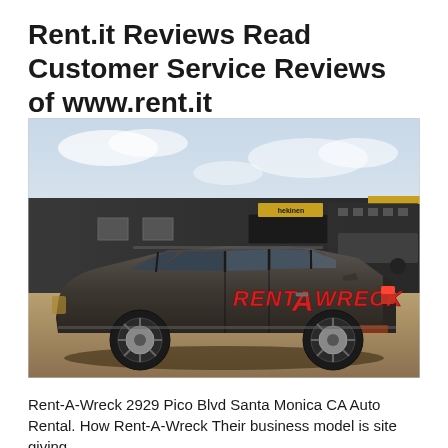Rent.it Reviews Read Customer Service Reviews of www.rent.it
[Figure (photo): A dark grey station wagon car with 'RENT A WRECK' branding on the side door, parked in a lot in front of a commercial building with a flat dark roof.]
Rent-A-Wreck 2929 Pico Blvd Santa Monica CA Auto Rental. How Rent-A-Wreck Their business model is site giving...